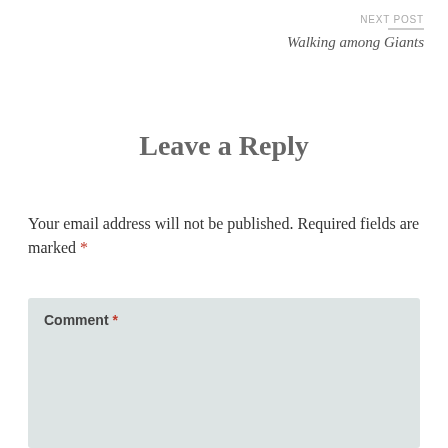NEXT POST
Walking among Giants
Leave a Reply
Your email address will not be published. Required fields are marked *
Comment *